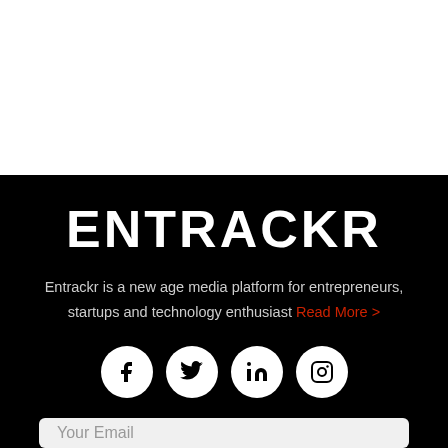[Figure (other): White top section blank area]
ENTRACKR
Entrackr is a new age media platform for entrepreneurs, startups and technology enthusiast Read More >
[Figure (infographic): Social media icons row: Facebook, Twitter, LinkedIn, Instagram — white circles on black background]
Your Email